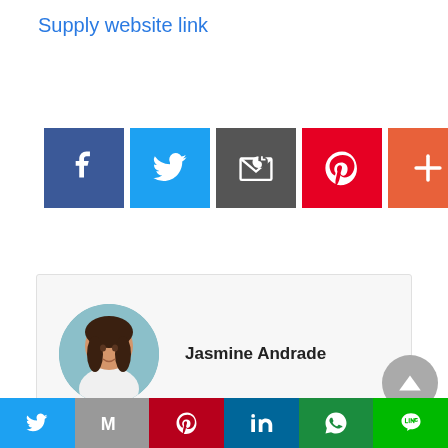Supply website link
[Figure (infographic): Row of 5 social share buttons: Facebook (blue), Twitter (light blue), Email/envelope (dark grey), Pinterest (red), More/plus (orange-red)]
Jasmine Andrade
[Figure (photo): Circular avatar photo of Jasmine Andrade, a woman with long dark hair, light background]
NEXT
Twin Towns companies flip on the exciting to counter 'resignation tsunami' »
PREVIOUS
[Figure (infographic): Bottom navigation bar with 6 social media icons: Twitter, Gmail/M, Pinterest, LinkedIn, WhatsApp, LINE]